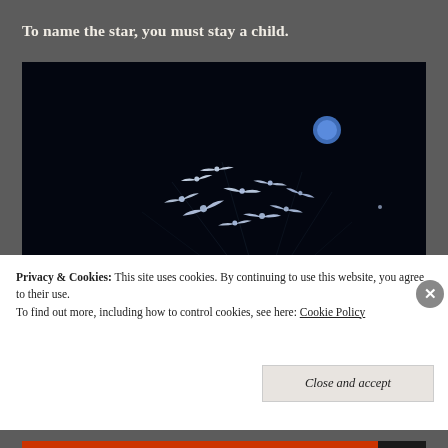To name the star, you must stay a child.
[Figure (photo): Dark night sky photograph showing a flock of white birds in flight, a blue circular moon or orb in the upper right area, thin light streaks suggesting motion trails, and a blue star shape in the lower right. The overall image is very dark.]
Privacy & Cookies: This site uses cookies. By continuing to use this website, you agree to their use. To find out more, including how to control cookies, see here: Cookie Policy
Close and accept